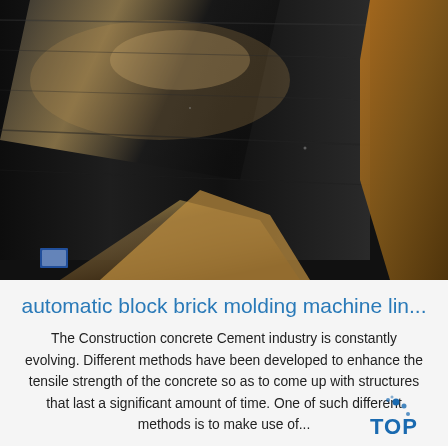[Figure (photo): Close-up photo of dark metallic sheet/plate machinery components with brownish packaging material or board leaning against it, industrial setting suggesting a brick molding machine line.]
automatic block brick molding machine lin...
The Construction concrete Cement industry is constantly evolving. Different methods have been developed to enhance the tensile strength of the concrete so as to come up with structures that last a significant amount of time. One of such different methods is to make use of...